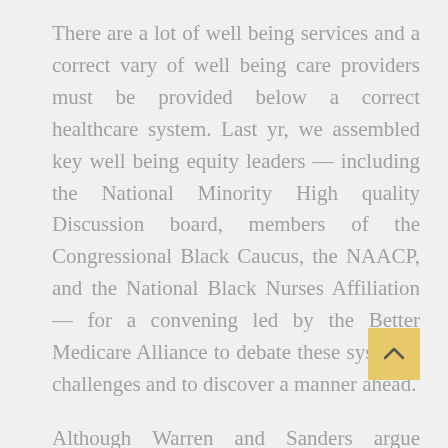There are a lot of well being services and a correct vary of well being care providers must be provided below a correct healthcare system. Last yr, we assembled key well being equity leaders — including the National Minority High quality Discussion board, members of the Congressional Black Caucus, the NAACP, and the National Black Nurses Affiliation — for a convening led by the Better Medicare Alliance to debate these systemic challenges and to discover a manner ahead.
Although Warren and Sanders argue such a shift would save individuals in the long run, the City Institute, and the